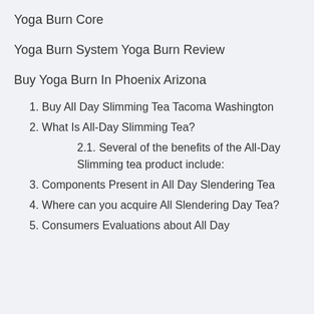Yoga Burn Core
Yoga Burn System Yoga Burn Review
Buy Yoga Burn In Phoenix Arizona
1. Buy All Day Slimming Tea Tacoma Washington
2. What Is All-Day Slimming Tea?
2.1. Several of the benefits of the All-Day Slimming tea product include:
3. Components Present in All Day Slendering Tea
4. Where can you acquire All Slendering Day Tea?
5. Consumers Evaluations about All Day